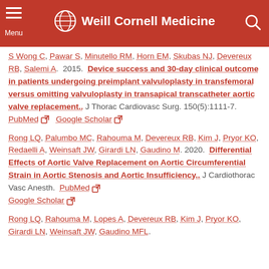Weill Cornell Medicine
S Wong C, Pawar S, Minutello RM, Horn EM, Skubas NJ, Devereux RB, Salemi A. 2015. Device success and 30-day clinical outcome in patients undergoing preimplant valvuloplasty in transfemoral versus omitting valvuloplasty in transapical transcatheter aortic valve replacement.. J Thorac Cardiovasc Surg. 150(5):1111-7. PubMed Google Scholar
Rong LQ, Palumbo MC, Rahouma M, Devereux RB, Kim J, Pryor KO, Redaelli A, Weinsaft JW, Girardi LN, Gaudino M. 2020. Differential Effects of Aortic Valve Replacement on Aortic Circumferential Strain in Aortic Stenosis and Aortic Insufficiency.. J Cardiothorac Vasc Anesth. PubMed Google Scholar
Rong LQ, Rahouma M, Lopes A, Devereux RB, Kim J, Pryor KO, Girardi LN, Weinsaft JW, Gaudino MFL.